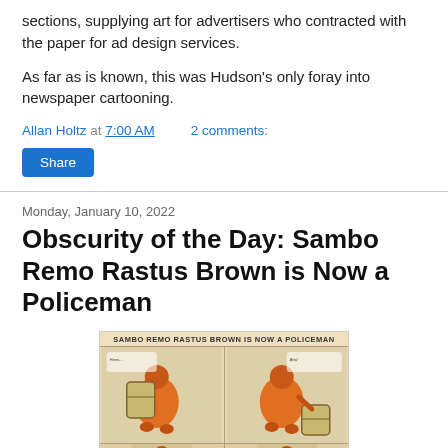sections, supplying art for advertisers who contracted with the paper for ad design services.
As far as is known, this was Hudson's only foray into newspaper cartooning.
Allan Holtz at 7:00 AM    2 comments:
Share
Monday, January 10, 2022
Obscurity of the Day: Sambo Remo Rastus Brown is Now a Policeman
[Figure (illustration): Comic strip titled 'SAMBO REMO RASTUS BROWN IS NOW A POLICEMAN' showing panels of a rotund figure in orange clothing carrying/interacting with large barrels, with a partial second row of panels at the bottom.]